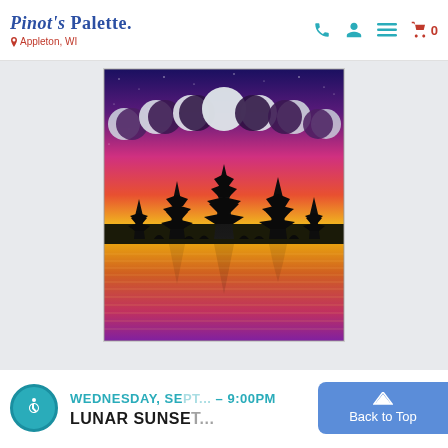Pinot's Palette — Appleton, WI
[Figure (illustration): Painting of lunar phases (moon phases sequence) above a colorful sunset sky with silhouetted pine trees reflected in water. Sky transitions from deep blue/purple at top through pink/magenta to yellow at horizon. Moon phase sequence shows crescent through full moon across the top.]
WEDNESDAY, SE... – 9:00PM
LUNAR SUNSE...